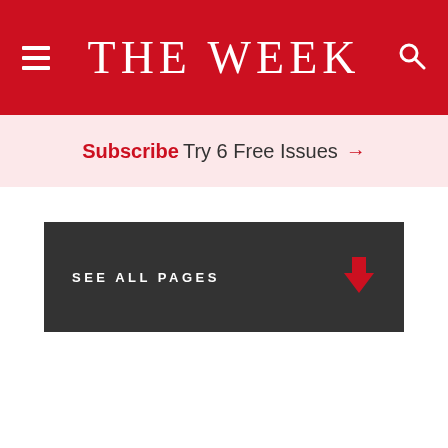THE WEEK
Subscribe Try 6 Free Issues →
SEE ALL PAGES